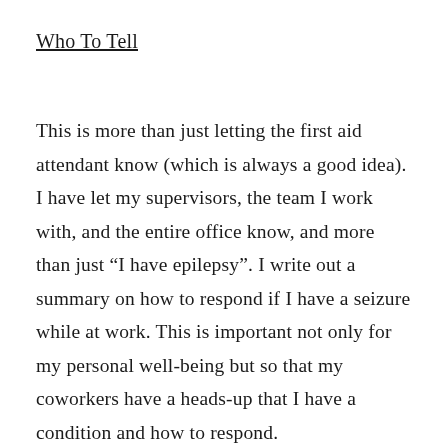Who To Tell
This is more than just letting the first aid attendant know (which is always a good idea). I have let my supervisors, the team I work with, and the entire office know, and more than just “I have epilepsy”. I write out a summary on how to respond if I have a seizure while at work. This is important not only for my personal well-being but so that my coworkers have a heads-up that I have a condition and how to respond.